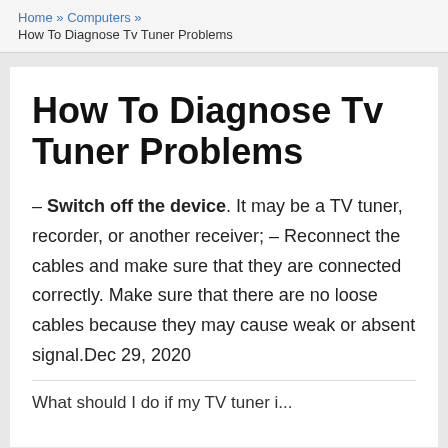Home » Computers » How To Diagnose Tv Tuner Problems
How To Diagnose Tv Tuner Problems
– Switch off the device. It may be a TV tuner, recorder, or another receiver; – Reconnect the cables and make sure that they are connected correctly. Make sure that there are no loose cables because they may cause weak or absent signal.Dec 29, 2020
What should I do if my TV tuner is not working?